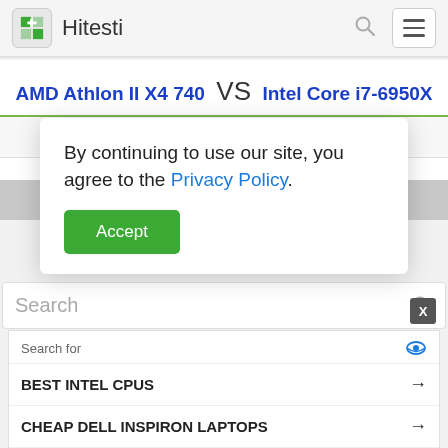Hitesti
AMD Athlon II X4 740 VS Intel Core i7-6950X
Core i7-6950X
By continuing to use our site, you agree to the Privacy Policy.
Accept
Search
Search for
BEST INTEL CPUS →
CHEAP DELL INSPIRON LAPTOPS →
Yahoo! Search | Sponsored